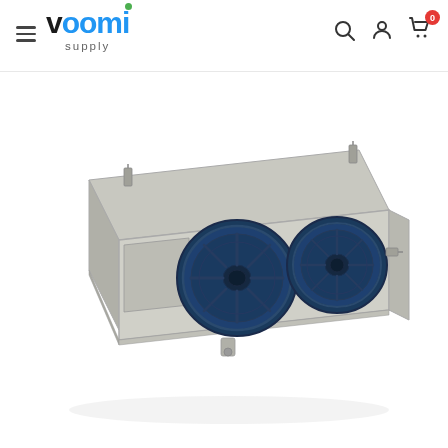voomi supply — navigation header with hamburger menu, logo, search, account, and cart icons
[Figure (photo): Industrial ceiling-mounted evaporator unit with stainless steel rectangular housing and two large blue axial fans on the front face, shown from a low-angle perspective against a white background. The unit has mounting brackets and a drain connection at the bottom.]